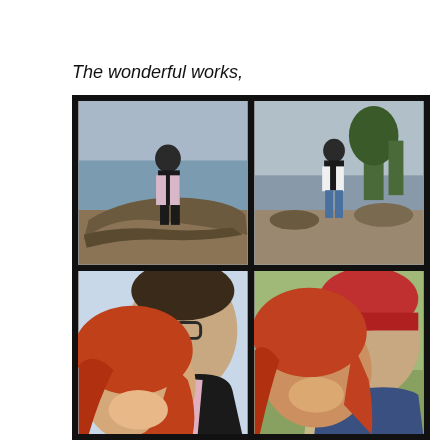The wonderful works,
[Figure (photo): Four-photo collage on black background: top-left shows a young man in a black vest and pink shirt posing on driftwood at a beach; top-right shows a young man in a black vest and white long-sleeve shirt standing on a rocky beach with trees and water behind; bottom-left shows a close-up of a smiling couple, man with glasses in a black jacket and pink shirt, woman with red wavy hair; bottom-right shows a selfie of a smiling couple outdoors, woman with red hair and man wearing a red beanie hat.]